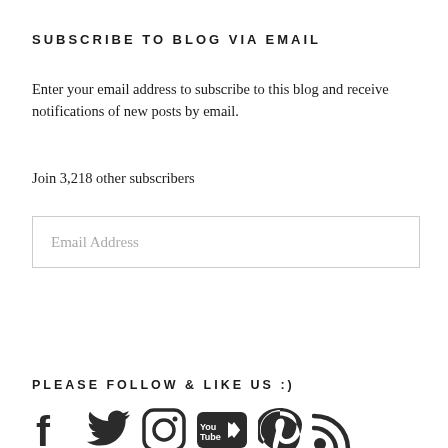SUBSCRIBE TO BLOG VIA EMAIL
Enter your email address to subscribe to this blog and receive notifications of new posts by email.
Join 3,218 other subscribers
Email Address
Subscribe
PLEASE FOLLOW & LIKE US :)
[Figure (illustration): Social media icons: Facebook, Twitter, Instagram, YouTube, Pinterest, RSS feed]